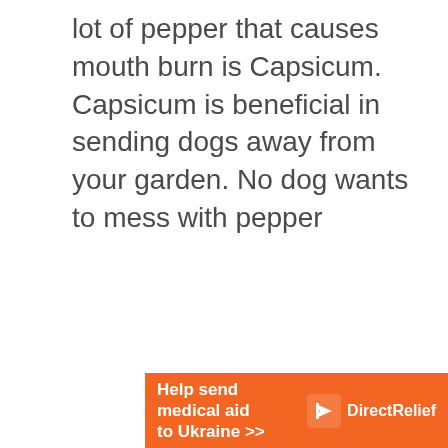lot of pepper that causes mouth burn is Capsicum. Capsicum is beneficial in sending dogs away from your garden. No dog wants to mess with pepper
[Figure (other): Orange Direct Relief advertisement banner reading 'Help send medical aid to Ukraine >>' with Direct Relief logo on right side]